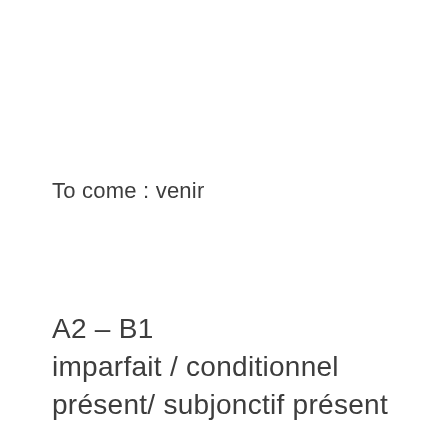To come : venir
A2 – B1
imparfait / conditionnel présent/ subjonctif présent